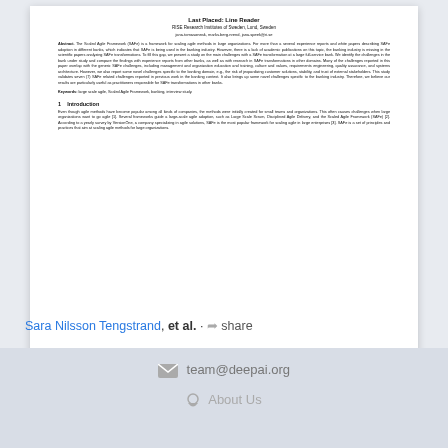Last Placed: Line Reader
RISE Research Institutes of Sweden, Lund, Sweden
jana.tomasoneak, marks.berg.nrend, jana.speek@ri.se
Abstract. The Scaled Agile Framework (SAFe) is a framework for scaling agile methods in large organizations. For more than a several experience reports and white papers describing SAFe adoption in different banks, which indicates that SAFe is being used in the banking industry. However, there is a lack of academic publications on this topic, the banking industry is missing in the scientific papers analyzing SAFe transformations. To fill this gap, we present a study on the main challenges with a SAFe transformation at a large full-service bank. We identify the challenges in the bank under study and compare the findings with experience reports from other banks, as well as with research in SAFe transformations in other domains. Many of the challenges reported in this paper overlap with the generic SAFe challenges, including management and organization education and training, culture and values, requirements engineering, quality assurance, and systems architecture. However, we also report some novel challenges specific to the banking domain, e.g., the risk of jeopardizing customer solutions, stability, and trust of external stakeholders. This study validates seven (7) SAFe related challenges reported in previous work in the banking context. It also brings up some novel challenges specific to the banking industry. Therefore, we believe our results are particularly useful as practitioners responsible for SAFe transformations in other banks.
Keywords: large scale agile, Scaled Agile Framework, banking, interview study.
1    Introduction
Even though agile methods have become popular among all kinds of companies, the methods were initially created for small teams and organizations. This often causes challenges when large organizations want to go agile [1]. Several frameworks guide a large-scale agile adoption, such as Large Scale Scrum, Disciplined Agile Delivery, and the Scaled Agile Framework (SAFe) [2]. According to a yearly survey by VersionOne, a company specializing in agile solutions, SAFe is the most popular framework for scaling agile in large enterprises [3]. SAFe is a set of principles and practices that aim at scaling agile methods for large organizations.
Sara Nilsson Tengstrand, et al. · share
team@deepai.org
About Us